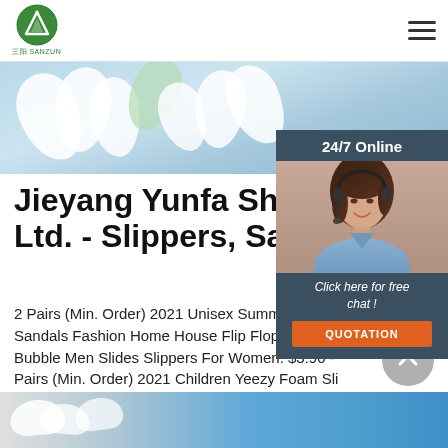三阳 SANZUN (logo) | hamburger menu
[Figure (photo): Hero banner with white flower petals on light blue background]
[Figure (photo): 24/7 Online chat widget with woman wearing headset, blue background, 'Click here for free chat!' text and orange QUOTATION button]
Jieyang Yunfa Shoes Industry Ltd. - Slippers, Sandals
2 Pairs (Min. Order) 2021 Unisex Summer EVA Slides Sandals Fashion Home House Flip Flops Massage Bubble Men Slides Slippers For Women. $3.90 - 2 Pairs (Min. Order) 2021 Children Yeezy Foam Slippers Outdoor Beach Soft Boys And Girls Shoes Kids Slides Slippers. $4.50 - $5.20 Pair.
Get Price
[Figure (photo): Bottom banner with blue water and white slides/slippers]